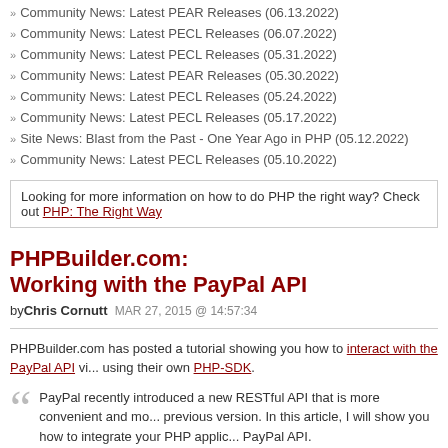Community News: Latest PEAR Releases (06.13.2022)
Community News: Latest PECL Releases (06.07.2022)
Community News: Latest PECL Releases (05.31.2022)
Community News: Latest PEAR Releases (05.30.2022)
Community News: Latest PECL Releases (05.24.2022)
Community News: Latest PECL Releases (05.17.2022)
Site News: Blast from the Past - One Year Ago in PHP (05.12.2022)
Community News: Latest PECL Releases (05.10.2022)
Looking for more information on how to do PHP the right way? Check out PHP: The Right Way
PHPBuilder.com: Working with the PayPal API
by Chris Cornutt MAR 27, 2015 @ 14:57:34
PHPBuilder.com has posted a tutorial showing you how to interact with the PayPal API via using their own PHP-SDK.
PayPal recently introduced a new RESTful API that is more convenient and mo... previous version. In this article, I will show you how to integrate your PHP applic... PayPal API.